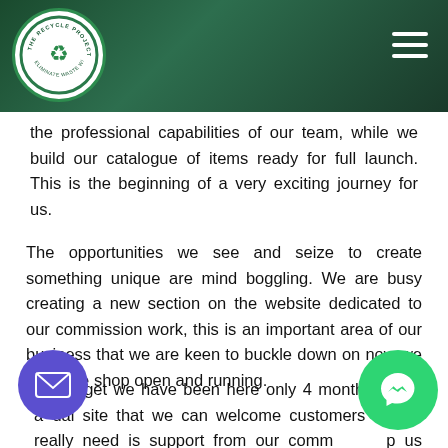[Figure (logo): The Recycle Project Co. circular logo with recycling symbol and green hands, white background with green border]
the professional capabilities of our team, while we build our catalogue of items ready for full launch. This is the beginning of a very exciting journey for us.
The opportunities we see and seize to create something unique are mind boggling. We are busy creating a new section on the website dedicated to our commission work, this is an important area of our business that we are keen to buckle down on now we have the shop open and running.
We forget we have been here only 4 months... with a virtual site that we can welcome customers to... what we really need is support from our community... help us spread the word of what we are up to... or better yet, buy something from us that will help